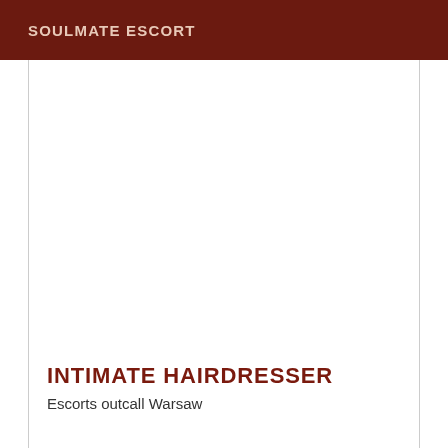SOULMATE ESCORT
INTIMATE HAIRDRESSER
Escorts outcall Warsaw